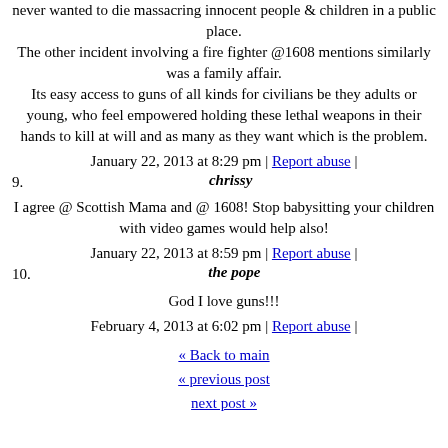never wanted to die massacring innocent people & children in a public place. The other incident involving a fire fighter @1608 mentions similarly was a family affair. Its easy access to guns of all kinds for civilians be they adults or young, who feel empowered holding these lethal weapons in their hands to kill at will and as many as they want which is the problem.
January 22, 2013 at 8:29 pm | Report abuse |
9. chrissy
I agree @ Scottish Mama and @ 1608! Stop babysitting your children with video games would help also!
January 22, 2013 at 8:59 pm | Report abuse |
10. the pope
God I love guns!!!
February 4, 2013 at 6:02 pm | Report abuse |
« Back to main
« previous post
next post »